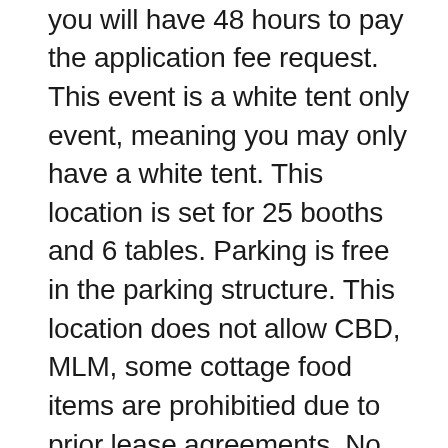fee until you are accepted, you will have 48 hours to pay the application fee request. This event is a white tent only event, meaning you may only have a white tent. This location is set for 25 booths and 6 tables. Parking is free in the parking structure. This location does not allow CBD, MLM, some cottage food items are prohibitied due to prior lease agreements. No open food. We have live music and a free kids craft station. If you have a service you would like to provide for the event, please email us at